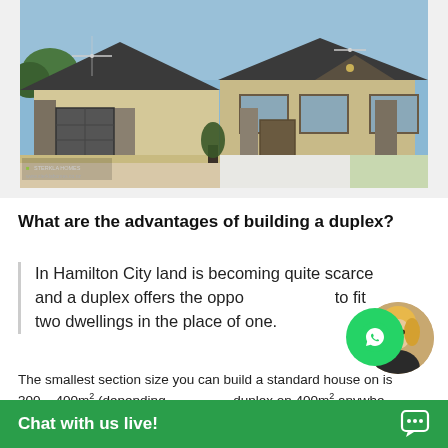[Figure (photo): Exterior rendering of a duplex house with dark roof, stone and render facade, double garage on left, landscaped front yard with plants and gravel driveway.]
What are the advantages of building a duplex?
In Hamilton City land is becoming quite scarce and a duplex offers the opportunity to fit two dwellings in the place of one.
The smallest section size you can build a standard house on is 300 – 400m² (depending on the council) but you can build a duplex on 400m² anywhere